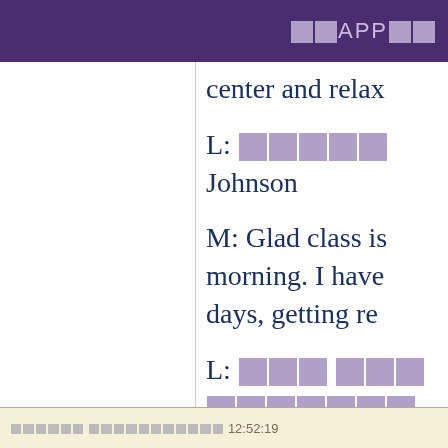□□APP□□
center and relax
L: □□□□□ Johnson
M: Glad class is morning. I have days, getting re
L: □□□ □□□□□□□□□□
□□□□□□ □□□□□□□□□□□□□□□□ 12:52:19